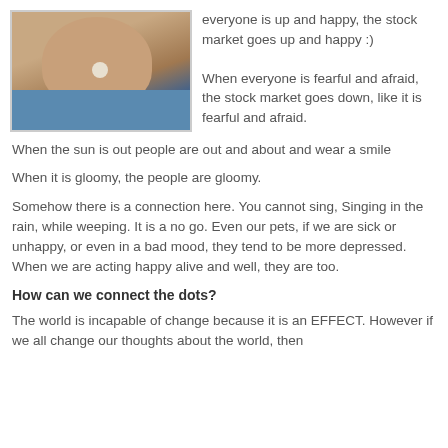[Figure (photo): Photo of a smiling person wearing a blue shirt, close-up face shot]
everyone is up and happy, the stock market goes up and happy :)

When everyone is fearful and afraid, the stock market goes down, like it is fearful and afraid.
When the sun is out people are out and about and wear a smile
When it is gloomy, the people are gloomy.
Somehow there is a connection here. You cannot sing, Singing in the rain, while weeping. It is a no go. Even our pets, if we are sick or unhappy, or even in a bad mood, they tend to be more depressed. When we are acting happy alive and well, they are too.
How can we connect the dots?
The world is incapable of change because it is an EFFECT. However if we all change our thoughts about the world, then